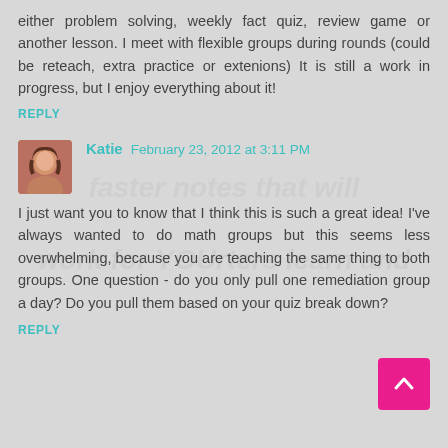either problem solving, weekly fact quiz, review game or another lesson. I meet with flexible groups during rounds (could be reteach, extra practice or extenions) It is still a work in progress, but I enjoy everything about it!
REPLY
Katie  February 23, 2012 at 3:11 PM
I just want you to know that I think this is such a great idea! I've always wanted to do math groups but this seems less overwhelming, because you are teaching the same thing to both groups. One question - do you only pull one remediation group a day? Do you pull them based on your quiz break down?
REPLY